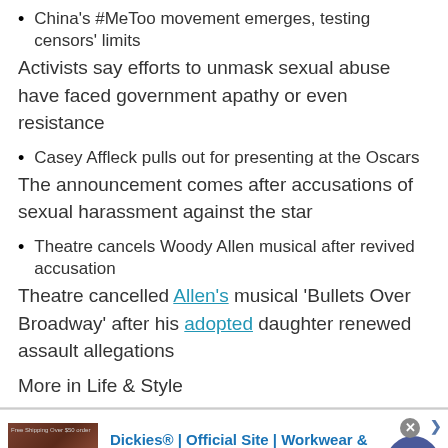China's #MeToo movement emerges, testing censors' limits
Activists say efforts to unmask sexual abuse have faced government apathy or even resistance
Casey Affleck pulls out for presenting at the Oscars
The announcement comes after accusations of sexual harassment against the star
Theatre cancels Woody Allen musical after revived accusation
Theatre cancelled Allen's musical 'Bullets Over Broadway' after his adopted daughter renewed assault allegations
More in Life & Style